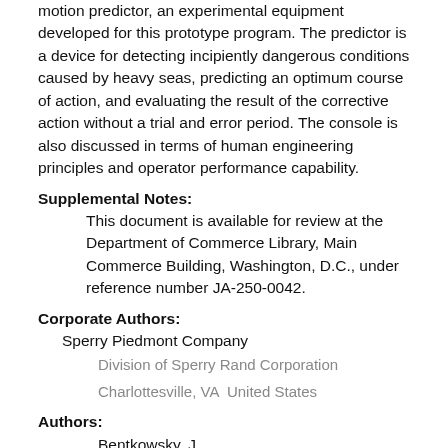motion predictor, an experimental equipment developed for this prototype program. The predictor is a device for detecting incipiently dangerous conditions caused by heavy seas, predicting an optimum course of action, and evaluating the result of the corrective action without a trial and error period. The console is also discussed in terms of human engineering principles and operator performance capability.
Supplemental Notes:
This document is available for review at the Department of Commerce Library, Main Commerce Building, Washington, D.C., under reference number JA-250-0042.
Corporate Authors:
Sperry Piedmont Company
Division of Sperry Rand Corporation
Charlottesville, VA  United States
Authors:
Bentkowsky, J
Publication Date: 1963-2-20
Media Info